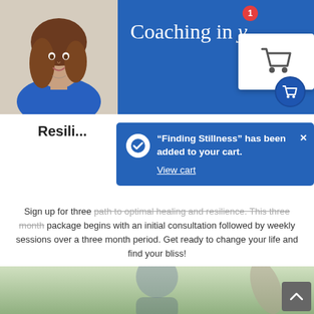[Figure (screenshot): Website screenshot showing coaching page with a woman in blue, banner reading 'Coaching in...' with shopping cart icon and notification badge showing 1 item]
Resili...
[Figure (screenshot): Blue popup notification: '"Finding Stillness" has been added to your cart.' with View cart link and close button, and a blue checkmark circle icon]
Sign up for three... path to optimal healing and resilience. This three month package begins with an initial consultation followed by weekly sessions over a three month period. Get ready to change your life and find your bliss!
[Figure (photo): Bottom strip showing partial photo of a woman with dark hair outdoors]